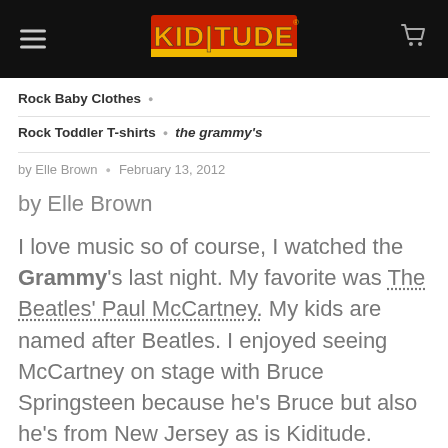KIDITUDE
Rock Baby Clothes · Rock Toddler T-shirts · the grammy's
by Elle Brown · February 13, 2012
by Elle Brown
I love music so of course, I watched the Grammy's last night. My favorite was The Beatles' Paul McCartney. My kids are named after Beatles. I enjoyed seeing McCartney on stage with Bruce Springsteen because he's Bruce but also he's from New Jersey as is Kiditude.